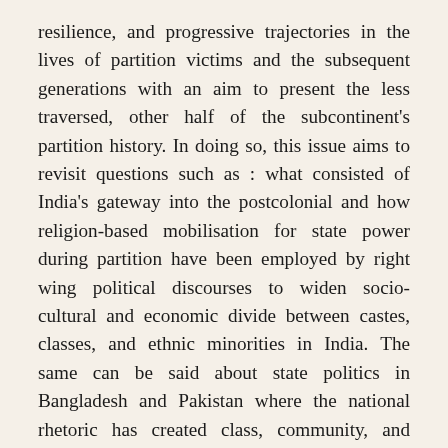resilience, and progressive trajectories in the lives of partition victims and the subsequent generations with an aim to present the less traversed, other half of the subcontinent's partition history. In doing so, this issue aims to revisit questions such as : what consisted of India's gateway into the postcolonial and how religion-based mobilisation for state power during partition have been employed by right wing political discourses to widen socio-cultural and economic divide between castes, classes, and ethnic minorities in India. The same can be said about state politics in Bangladesh and Pakistan where the national rhetoric has created class, community, and religious differences. On the occasion of 75th year of the partition, this issue aims to bring together scholars from South Asia and beyond who are willing to begin new conversations on the Partition and contemporary questions of how and